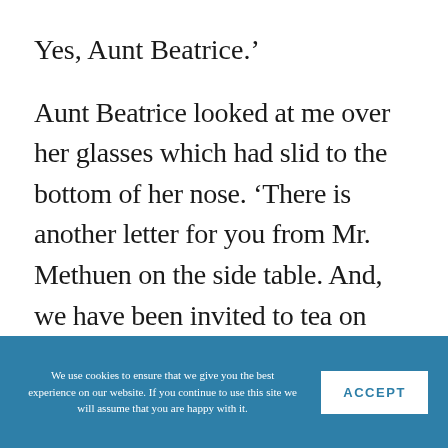Yes, Aunt Beatrice.'
Aunt Beatrice looked at me over her glasses which had slid to the bottom of her nose. ‘There is another letter for you from Mr. Methuen on the side table. And, we have been invited to tea on Tuesday, by Mrs Norris.’
‘Oh,’ I said, hoping Aunt Beatrice would not
We use cookies to ensure that we give you the best experience on our website. If you continue to use this site we will assume that you are happy with it.